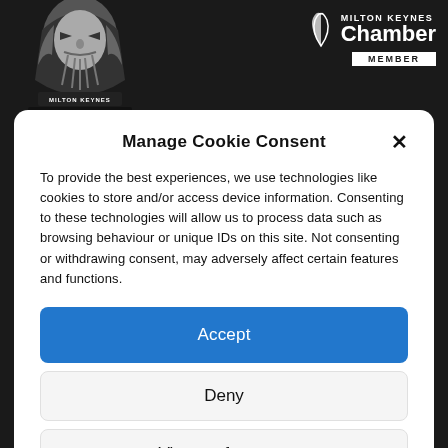[Figure (logo): Milton Keynes Lightning ice hockey team logo — armored wizard/warrior figure with the text LIGHTNING and MILTON KEYNES, monochrome illustration]
[Figure (logo): Milton Keynes Chamber Member logo — white text on dark background with stylized leaf/wing icon, MEMBER bar below]
Manage Cookie Consent
To provide the best experiences, we use technologies like cookies to store and/or access device information. Consenting to these technologies will allow us to process data such as browsing behaviour or unique IDs on this site. Not consenting or withdrawing consent, may adversely affect certain features and functions.
Accept
Deny
View preferences
Cookies Policy   Privacy Policy